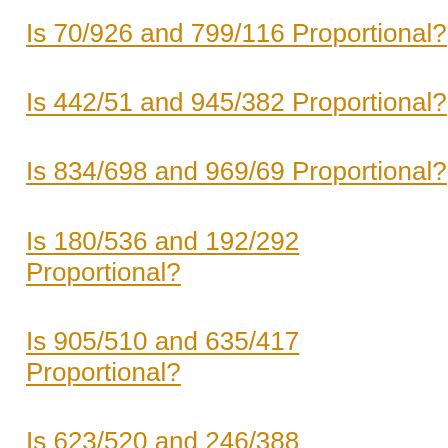Is 70/926 and 799/116 Proportional?
Is 442/51 and 945/382 Proportional?
Is 834/698 and 969/69 Proportional?
Is 180/536 and 192/292 Proportional?
Is 905/510 and 635/417 Proportional?
Is 623/520 and 246/388 Proportional?
Is 674/402 and 962/141 Proportional?
Is 982/231 and 462/285 Proportional?
Is 547/436 and 762/411 Proportional?